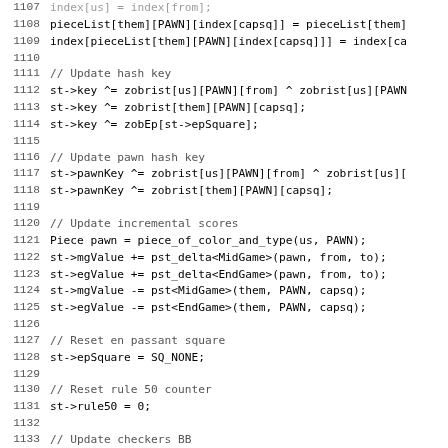Code listing lines 1108-1139, C++ source code for a chess engine showing pawn capture (en passant) move handling including hash key updates, incremental score updates, and state resets.